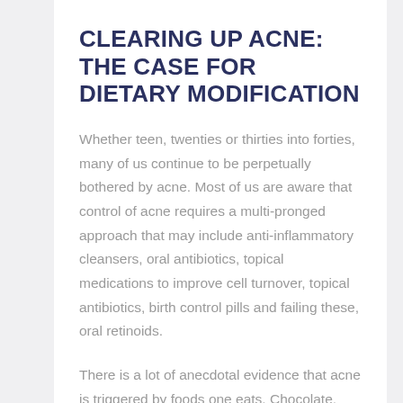CLEARING UP ACNE: THE CASE FOR DIETARY MODIFICATION
Whether teen, twenties or thirties into forties, many of us continue to be perpetually bothered by acne. Most of us are aware that control of acne requires a multi-pronged approach that may include anti-inflammatory cleansers, oral antibiotics, topical medications to improve cell turnover, topical antibiotics, birth control pills and failing these, oral retinoids.
There is a lot of anecdotal evidence that acne is triggered by foods one eats. Chocolate, greasy foods and sugary foods